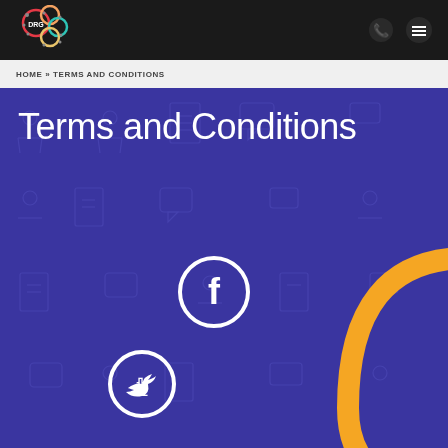DRG logo and navigation bar with phone and menu icons
HOME » TERMS AND CONDITIONS
Terms and Conditions
[Figure (illustration): Purple background with decorative social media icons (Facebook, Twitter) and an orange arc design element, with faint repeating icon pattern overlay]